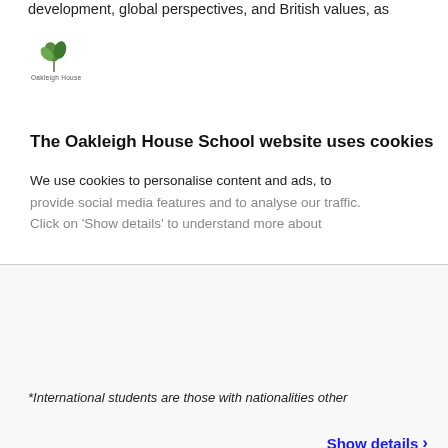development, global perspectives, and British values, as
[Figure (logo): Oakleigh House school logo with small plant/leaf icon and text 'Oakleigh House']
The Oakleigh House School website uses cookies
We use cookies to personalise content and ads, to provide social media features and to analyse our traffic. Click on 'Show details' to understand more about
Show details ›
Allow all cookies
Customize ›
Powered by Cookiebot by Usercentrics
*International students are those with nationalities other